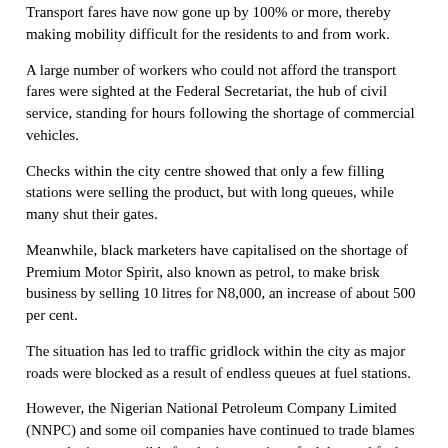Transport fares have now gone up by 100% or more, thereby making mobility difficult for the residents to and from work.
A large number of workers who could not afford the transport fares were sighted at the Federal Secretariat, the hub of civil service, standing for hours following the shortage of commercial vehicles.
Checks within the city centre showed that only a few filling stations were selling the product, but with long queues, while many shut their gates.
Meanwhile, black marketers have capitalised on the shortage of Premium Motor Spirit, also known as petrol, to make brisk business by selling 10 litres for N8,000, an increase of about 500 per cent.
The situation has led to traffic gridlock within the city as major roads were blocked as a result of endless queues at fuel stations.
However, the Nigerian National Petroleum Company Limited (NNPC) and some oil companies have continued to trade blames over who is responsible for the importation of adulterated fuel instead of solving the problem